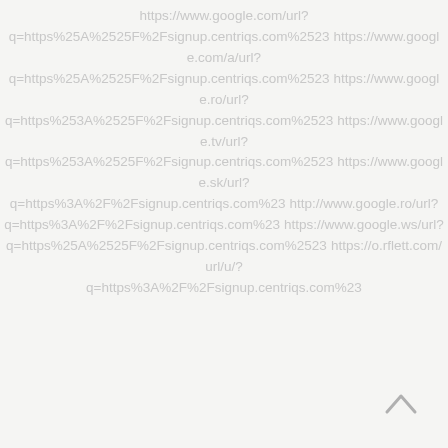https://www.google.com/url?q=https%25A%2525F%2Fsignup.centriqs.com%2523 https://www.google.com/a/url?q=https%25A%2525F%2Fsignup.centriqs.com%2523 https://www.google.ro/url?q=https%253A%2525F%2Fsignup.centriqs.com%2523 https://www.google.tv/url?q=https%253A%2525F%2Fsignup.centriqs.com%2523 https://www.google.sk/url?q=https%3A%2F%2Fsignup.centriqs.com%23 http://www.google.ro/url?q=https%3A%2F%2Fsignup.centriqs.com%23 https://www.google.ws/url?q=https%25A%2525F%2Fsignup.centriqs.com%2523 https://o.rflett.com/url/u/?q=https%3A%2F%2Fsignup.centriqs.com%23